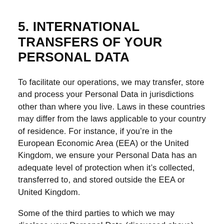5. INTERNATIONAL TRANSFERS OF YOUR PERSONAL DATA
To facilitate our operations, we may transfer, store and process your Personal Data in jurisdictions other than where you live. Laws in these countries may differ from the laws applicable to your country of residence. For instance, if you’re in the European Economic Area (EEA) or the United Kingdom, we ensure your Personal Data has an adequate level of protection when it’s collected, transferred to, and stored outside the EEA or United Kingdom.
Some of the third parties to which we may disclose your Personal Data (discussed above)